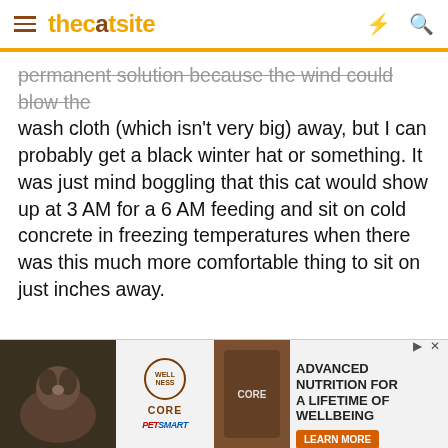thecatsite
permanent solution because the wind could blow the wash cloth (which isn't very big) away, but I can probably get a black winter hat or something. It was just mind boggling that this cat would show up at 3 AM for a 6 AM feeding and sit on cold concrete in freezing temperatures when there was this much more comfortable thing to sit on just inches away.
❤ fionasmom and Norachan
[Figure (screenshot): Advertisement banner: Wellness Core pet food ad with PetSmart branding. Text reads: ADVANCED NUTRITION FOR A LIFETIME OF WELLBEING with a LEARN MORE button.]